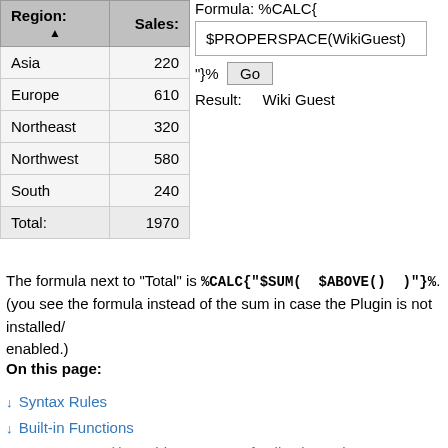| Region: ▲ | Sales: |
| --- | --- |
| Asia | 220 |
| Europe | 610 |
| Northeast | 320 |
| Northwest | 580 |
| South | 240 |
| Total: | 1970 |
Formula: %CALC{
$PROPERSPACE(WikiGuest)
"}%  Go
Result:    Wiki Guest
The formula next to "Total" is %CALC{"$SUM( $ABOVE() )"}%. (you see the formula instead of the sum in case the Plugin is not installed/enabled.)
On this page:
↓ Syntax Rules
↓ Built-in Functions
↓ ABOVE( ) -- address range of cells above the current cell